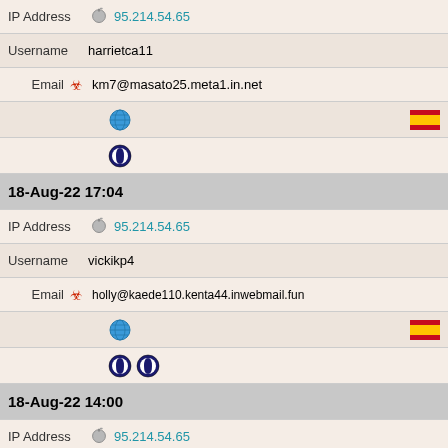IP Address 95.214.54.65
Username harrietca11
Email km7@masato25.meta1.in.net
[globe icon] [Spain flag]
[opera icon]
18-Aug-22 17:04
IP Address 95.214.54.65
Username vickikp4
Email holly@kaede110.kenta44.inwebmail.fun
[globe icon] [Spain flag]
[opera icon x2]
18-Aug-22 14:00
IP Address 95.214.54.65
Username alexanderts3
Email brittneyap1@masato34.meta1.in.net
[globe icon] [Spain flag]
[opera icon x2]